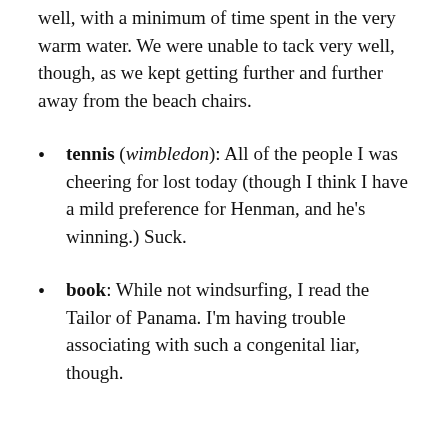well, with a minimum of time spent in the very warm water. We were unable to tack very well, though, as we kept getting further and further away from the beach chairs.
tennis (wimbledon): All of the people I was cheering for lost today (though I think I have a mild preference for Henman, and he's winning.) Suck.
book: While not windsurfing, I read the Tailor of Panama. I'm having trouble associating with such a congenital liar, though.